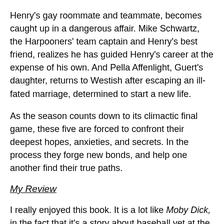Henry's gay roommate and teammate, becomes caught up in a dangerous affair. Mike Schwartz, the Harpooners' team captain and Henry's best friend, realizes he has guided Henry's career at the expense of his own. And Pella Affenlight, Guert's daughter, returns to Westish after escaping an ill-fated marriage, determined to start a new life.
As the season counts down to its climactic final game, these five are forced to confront their deepest hopes, anxieties, and secrets. In the process they forge new bonds, and help one another find their true paths.
My Review
I really enjoyed this book. It is a lot like Moby Dick, in the fact that it's a story about baseball yet at the same time it's so much more than that, just like Moby Dick is so much more than just a story about a fish. There are so many great aspects about this book including the characters. I've read a lot of books but have never really found a book with such eccentric characters who are still so real (some of the characters reminded me of people I know in my life). I found